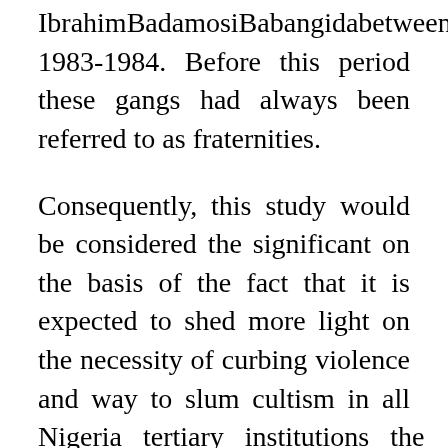IbrahimBadamosiBabangidabetween 1983-1984. Before this period these gangs had always been referred to as fraternities.
Consequently, this study would be considered the significant on the basis of the fact that it is expected to shed more light on the necessity of curbing violence and way to slum cultism in all Nigeria tertiary institutions the researcher will also highlight ways of protecting student in the institutions.
In addition, this study would found useful for all students in all level of institutions, being research and th...